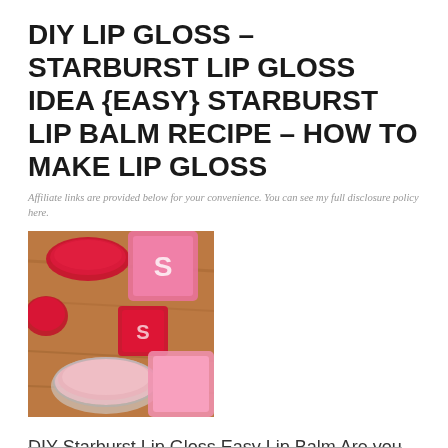DIY LIP GLOSS – STARBURST LIP GLOSS IDEA {EASY} STARBURST LIP BALM RECIPE – HOW TO MAKE LIP GLOSS
Affiliate links are provided below for your convenience. You can see my full disclosure policy here.
[Figure (photo): Close-up photo of DIY Starburst lip gloss – small clear round containers with pink/red lip balm, and pink Starburst candy wrappers on a wooden surface]
DIY Starburst Lip Gloss Easy Lip Balm Are you ready to make the most amazing DIY Starburst lip gloss?